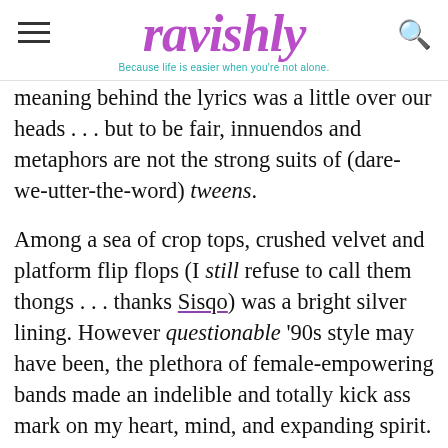ravishly — Because life is easier when you're not alone.
meaning behind the lyrics was a little over our heads . . . but to be fair, innuendos and metaphors are not the strong suits of (dare-we-utter-the-word) tweens.
Among a sea of crop tops, crushed velvet and platform flip flops (I still refuse to call them thongs . . . thanks Sisqo) was a bright silver lining. However questionable '90s style may have been, the plethora of female-empowering bands made an indelible and totally kick ass mark on my heart, mind, and expanding spirit.
As a lover of the well-timed conversational pop